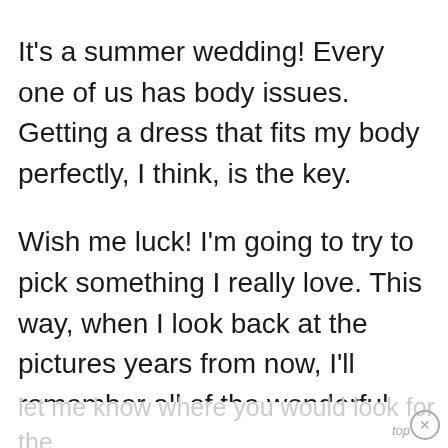It's a summer wedding! Every one of us has body issues. Getting a dress that fits my body perfectly, I think, is the key.
Wish me luck! I'm going to try to pick something I really love. This way, when I look back at the pictures years from now, I'll remember all of the wonderful memories of their special day. Stay tuned. I feel my dress is right around the corner!
I'd love to get your advice on this! Please
let me know where you would look for the